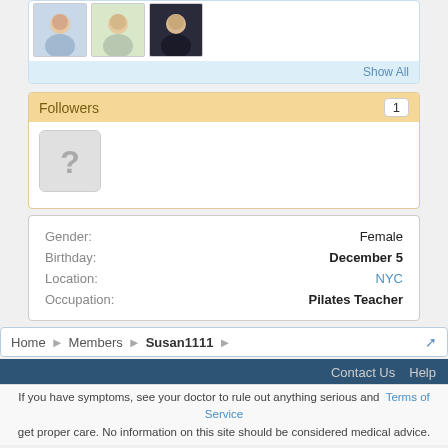[Figure (photo): Three profile photo thumbnails of people in a row]
Show All
Followers  1
[Figure (photo): Anonymous follower placeholder with question mark]
| Field | Value |
| --- | --- |
| Gender: | Female |
| Birthday: | December 5 |
| Location: | NYC |
| Occupation: | Pilates Teacher |
Home  >  Members  >  Susan1111
Contact Us  Help
If you have symptoms, see your doctor to rule out anything serious and  Terms of Service  get proper care. No information on this site should be considered medical advice.